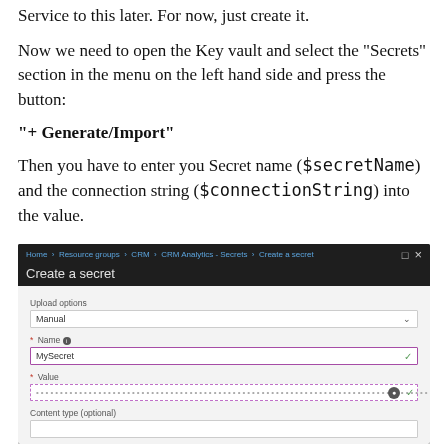Service to this later. For now, just create it.
Now we need to open the Key vault and select the “Secrets” section in the menu on the left hand side and press the button:
“+ Generate/Import”
Then you have to enter you Secret name ($secretName) and the connection string ($connectionString) into the value.
[Figure (screenshot): Azure Key Vault 'Create a secret' UI panel showing Upload options (Manual), Name field (MySecret), Value field (masked), and Content type (optional) field.]